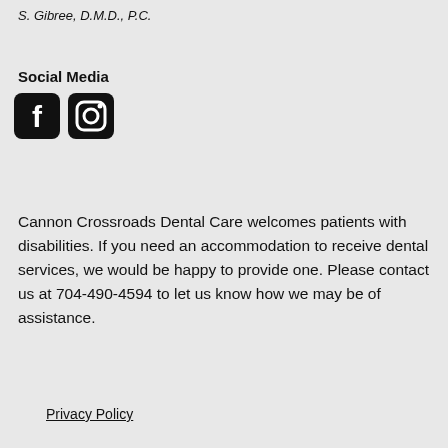S. Gibree, D.M.D., P.C.
Social Media
[Figure (illustration): Facebook and Instagram social media icons, rounded square black icons]
Cannon Crossroads Dental Care welcomes patients with disabilities. If you need an accommodation to receive dental services, we would be happy to provide one. Please contact us at 704-490-4594 to let us know how we may be of assistance.
Privacy Policy